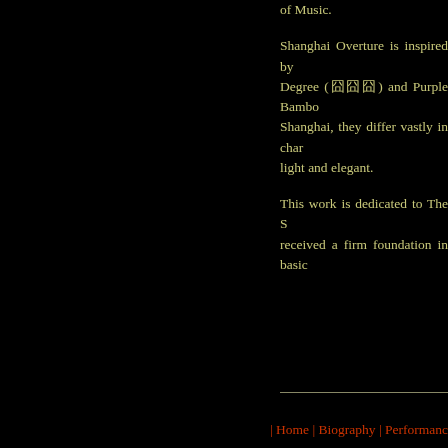of Music.
Shanghai Overture is inspired by Degree (囧囧囧) and Purple Bambo Shanghai, they differ vastly in char light and elegant.
This work is dedicated to The S received a firm foundation in basic
| Home | Biography | Performances | Works | Recordings | Ne